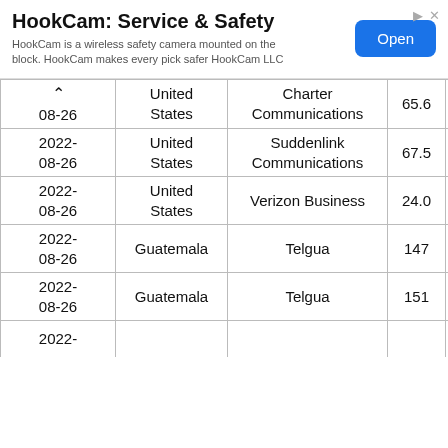[Figure (other): Advertisement banner for HookCam: Service & Safety. Shows title, description text, and blue Open button.]
| Date | Country | Provider | Value |
| --- | --- | --- | --- |
| 2022-08-26 | United States | Charter Communications | 65.6 |
| 2022-08-26 | United States | Suddenlink Communications | 67.5 |
| 2022-08-26 | United States | Verizon Business | 24.0 |
| 2022-08-26 | Guatemala | Telgua | 147 |
| 2022-08-26 | Guatemala | Telgua | 151 |
| 2022-... |  |  |  |